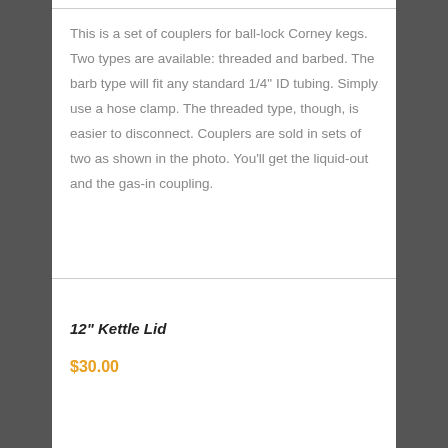This is a set of couplers for ball-lock Corney kegs. Two types are available: threaded and barbed. The barb type will fit any standard 1/4" ID tubing. Simply use a hose clamp. The threaded type, though, is easier to disconnect. Couplers are sold in sets of two as shown in the photo. You'll get the liquid-out and the gas-in coupling.
12" Kettle Lid
$30.00